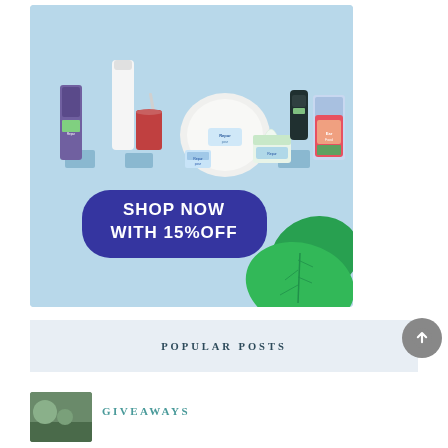[Figure (photo): Advertisement banner for household/paper products brand showing various products (cups, plates, tissues, bags) on a light blue background with a 'SHOP NOW WITH 15% OFF' call-to-action button in dark blue and green leaf decorations]
POPULAR POSTS
[Figure (photo): Small thumbnail photo of a nature/outdoor scene, green tones]
GIVEAWAYS